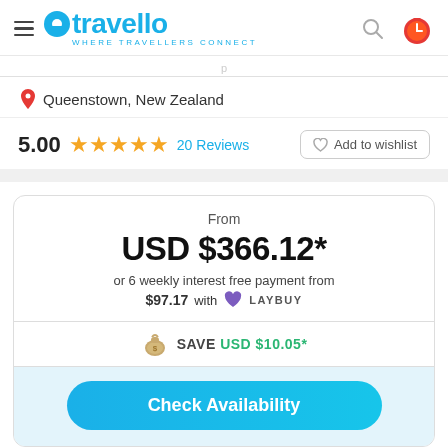travello — Where Travellers Connect
Queenstown, New Zealand
5.00  ★★★★★  20 Reviews  Add to wishlist
From
USD $366.12*
or 6 weekly interest free payment from $97.17 with LAYBUY
SAVE USD $10.05*
Check Availability